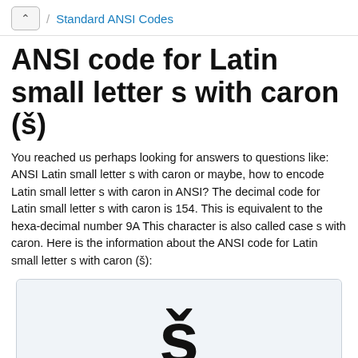Standard ANSI Codes
ANSI code for Latin small letter s with caron (š)
You reached us perhaps looking for answers to questions like: ANSI Latin small letter s with caron or maybe, how to encode Latin small letter s with caron in ANSI? The decimal code for Latin small letter s with caron is 154. This is equivalent to the hexa-decimal number 9A This character is also called case s with caron. Here is the information about the ANSI code for Latin small letter s with caron (š):
[Figure (illustration): Large display of the Latin small letter š (s with caron) in bold font]
Decimal: 154